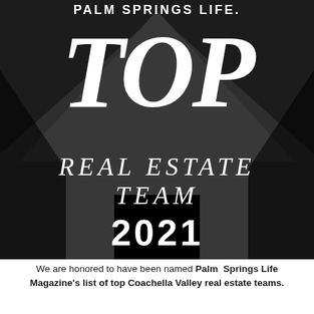[Figure (illustration): Palm Springs Life magazine Top Real Estate Team 2021 award badge. Dark/black background with large italic 'TOP' text, below which reads 'REAL ESTATE TEAM' and '2021'. Header reads 'PALM SPRINGS LIFE.' in white sans-serif. Background features geometric house/arrow shapes in dark gray.]
We are honored to have been named Palm Springs Life Magazine's list of top Coachella Valley real estate teams.